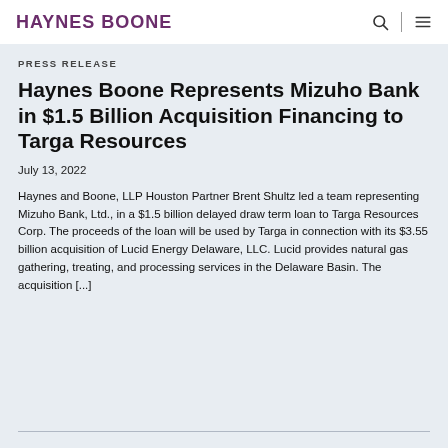HAYNES BOONE
PRESS RELEASE
Haynes Boone Represents Mizuho Bank in $1.5 Billion Acquisition Financing to Targa Resources
July 13, 2022
Haynes and Boone, LLP Houston Partner Brent Shultz led a team representing Mizuho Bank, Ltd., in a $1.5 billion delayed draw term loan to Targa Resources Corp. The proceeds of the loan will be used by Targa in connection with its $3.55 billion acquisition of Lucid Energy Delaware, LLC. Lucid provides natural gas gathering, treating, and processing services in the Delaware Basin. The acquisition [...]